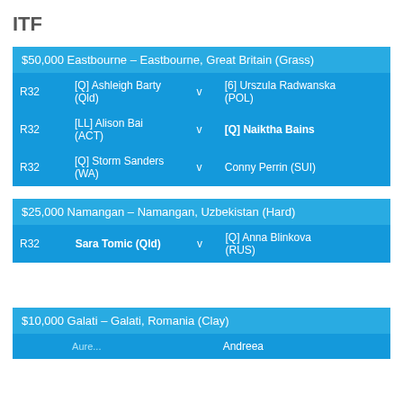ITF
| $50,000 Eastbourne – Eastbourne, Great Britain (Grass) |
| --- |
| R32 | [Q] Ashleigh Barty (Qld) | v | [6] Urszula Radwanska (POL) |  |
| R32 | [LL] Alison Bai (ACT) | v | [Q] Naiktha Bains |  |
| R32 | [Q] Storm Sanders (WA) | v | Conny Perrin (SUI) |  |
| $25,000 Namangan – Namangan, Uzbekistan (Hard) |
| --- |
| R32 | Sara Tomic (Qld) | v | [Q] Anna Blinkova (RUS) |  |
| $10,000 Galati – Galati, Romania (Clay) |
| --- |
|  |  |  | Andreea |  |